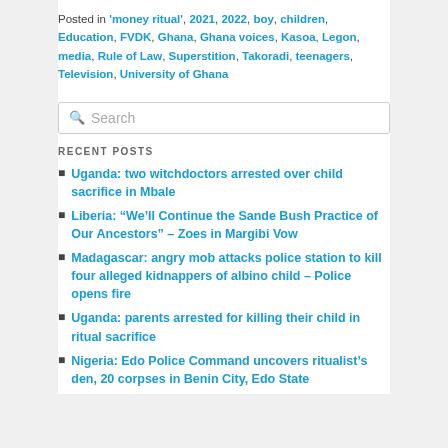Posted in 'money ritual', 2021, 2022, boy, children, Education, FVDK, Ghana, Ghana voices, Kasoa, Legon, media, Rule of Law, Superstition, Takoradi, teenagers, Television, University of Ghana
[Figure (other): Search input box with magnifying glass icon and placeholder text 'Search']
RECENT POSTS
Uganda: two witchdoctors arrested over child sacrifice in Mbale
Liberia: “We’ll Continue the Sande Bush Practice of Our Ancestors” – Zoes in Margibi Vow
Madagascar: angry mob attacks police station to kill four alleged kidnappers of albino child – Police opens fire
Uganda: parents arrested for killing their child in ritual sacrifice
Nigeria: Edo Police Command uncovers ritualist’s den, 20 corpses in Benin City, Edo State